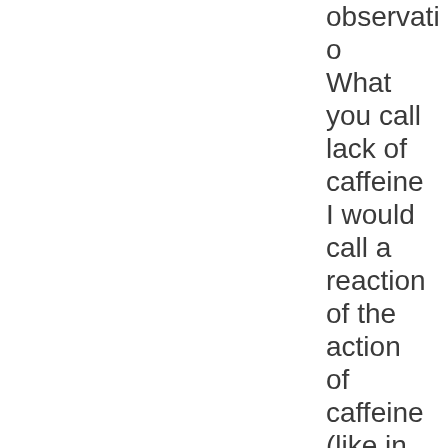observatio What you call lack of caffeine I would call a reaction of the action of caffeine (like in Newton's 3rd law), because this spesific